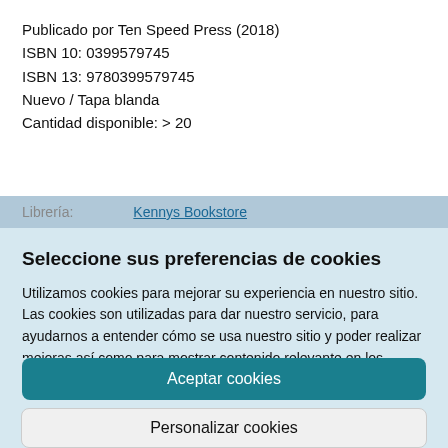Publicado por Ten Speed Press (2018)
ISBN 10: 0399579745
ISBN 13: 9780399579745
Nuevo / Tapa blanda
Cantidad disponible: > 20
Librería:    Kennys Bookstore
Seleccione sus preferencias de cookies
Utilizamos cookies para mejorar su experiencia en nuestro sitio. Las cookies son utilizadas para dar nuestro servicio, para ayudarnos a entender cómo se usa nuestro sitio y poder realizar mejoras así como para mostrar contenido relevante en los anuncios.
Aceptar cookies
Personalizar cookies